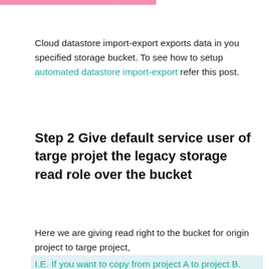[Figure (other): Pink/salmon colored tab bar at top of page, partially visible]
Cloud datastore import-export exports data in you specified storage bucket. To see how to setup automated datastore import-export refer this post.
Step 2 Give default service user of targe projet the legacy storage read role over the bucket
Here we are giving read right to the bucket for origin project to targe project,
I.E. If you want to copy from project A to project B. Then give